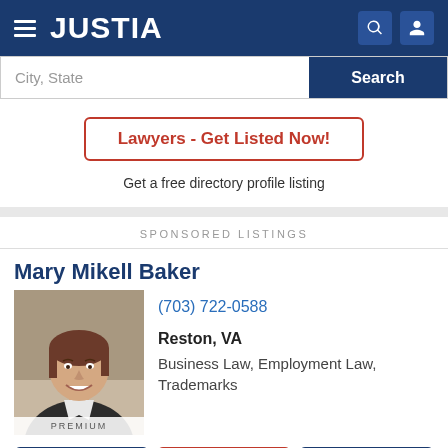JUSTIA
City, State
Search
Lawyers - Get Listed Now!
Get a free directory profile listing
SPONSORED LISTINGS
Mary Mikell Baker
[Figure (photo): Professional headshot of Mary Mikell Baker, a woman with brown hair smiling, wearing a dark jacket]
(703) 722-0588
Reston, VA
Business Law, Employment Law, Trademarks
Website
Call
Email